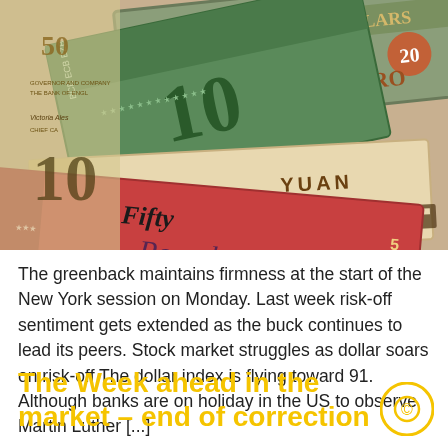[Figure (photo): Photo of multiple international currency banknotes fanned out, including Euro (10 EUR), Chinese Yuan, British Pound (Fifty), and US Dollar (Twenty Dollars) bills overlapping each other.]
The greenback maintains firmness at the start of the New York session on Monday. Last week risk-off sentiment gets extended as the buck continues to lead its peers. Stock market struggles as dollar soars on risk-off The dollar index is flying toward 91. Although banks are on holiday in the US to observe Martin Luther [...]
The Week ahead in the market – end of correction